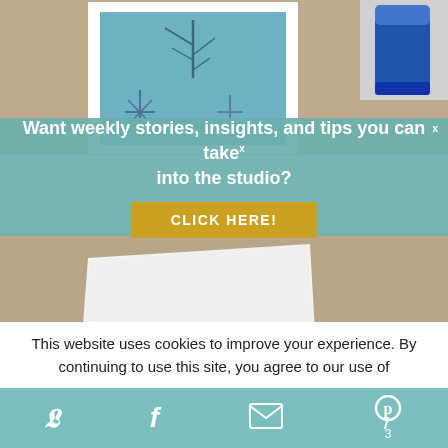[Figure (photo): Top portion of craft photo showing a blue botanical/snowflake art card on a wooden table with a glue stick bottle beside it]
Want weekly stories, insights, and tips you can take into the studio?
CLICK HERE!
[Figure (photo): Bottom portion showing white blank card/paper on a wooden table surface]
Cards from coloured photocopies of your art
This website uses cookies to improve your experience. By continuing to use this site, you agree to our use of
Twitter icon   Facebook icon   Email icon   Pinterest icon   3